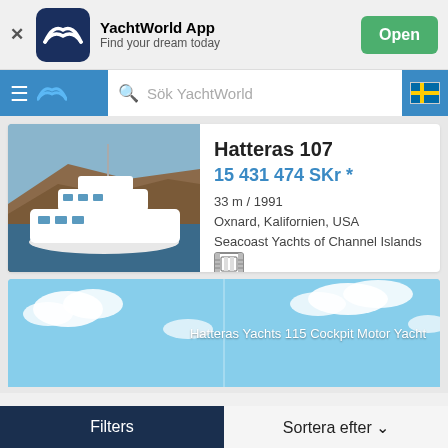[Figure (screenshot): YachtWorld App banner with dark blue icon, app name, tagline, and green Open button]
[Figure (screenshot): Navigation bar with hamburger menu, YachtWorld logo, search box placeholder 'Sök YachtWorld', and Swedish flag]
Hatteras 107
15 431 474 SKr *
33 m / 1991
Oxnard, Kalifornien, USA
Seacoast Yachts of Channel Islands
[Figure (photo): White motor yacht on blue water near rocky cliffs]
[Figure (photo): Partial view of second listing - Hatteras Yachts 115 Cockpit Motor Yacht with blue sky and clouds]
Hatteras Yachts 115 Cockpit Motor Yacht
Filters
Sortera efter ∨